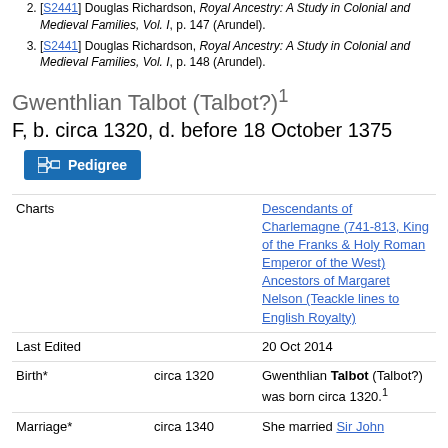[S2441] Douglas Richardson, Royal Ancestry: A Study in Colonial and Medieval Families, Vol. I, p. 147 (Arundel).
[S2441] Douglas Richardson, Royal Ancestry: A Study in Colonial and Medieval Families, Vol. I, p. 148 (Arundel).
Gwenthlian Talbot (Talbot?)¹
F, b. circa 1320, d. before 18 October 1375
Pedigree
|  |  |  |
| --- | --- | --- |
| Charts |  | Descendants of Charlemagne (741-813, King of the Franks & Holy Roman Emperor of the West) Ancestors of Margaret Nelson (Teackle lines to English Royalty) |
| Last Edited |  | 20 Oct 2014 |
| Birth* | circa 1320 | Gwenthlian Talbot (Talbot?) was born circa 1320.¹ |
| Marriage* | circa 1340 | She married Sir John |